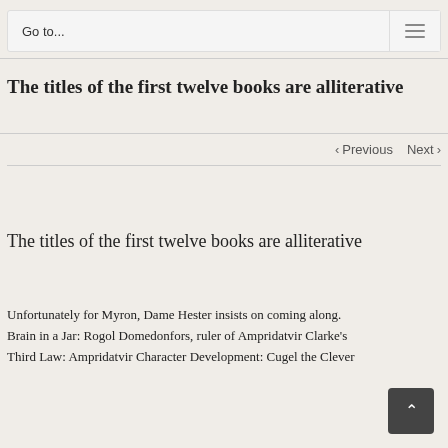Go to...
The titles of the first twelve books are alliterative
< Previous   Next >
The titles of the first twelve books are alliterative
Unfortunately for Myron, Dame Hester insists on coming along. Brain in a Jar: Rogol Domedonfors, ruler of Ampridatvir Clarke's Third Law: Ampridatvir Character Development: Cugel the Clever